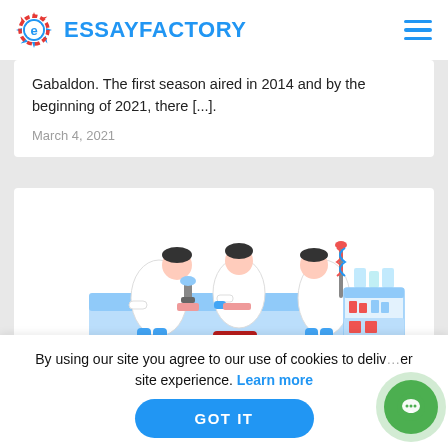ESSAYFACTORY
Gabaldon. The first season aired in 2014 and by the beginning of 2021, there [...].
March 4, 2021
[Figure (illustration): Three scientists in white lab coats working at a lab bench with equipment including microscopes, DNA models, test tube racks, and a red biohazard bin in the foreground.]
By using our site you agree to our use of cookies to deliver a better site experience. Learn more
GOT IT